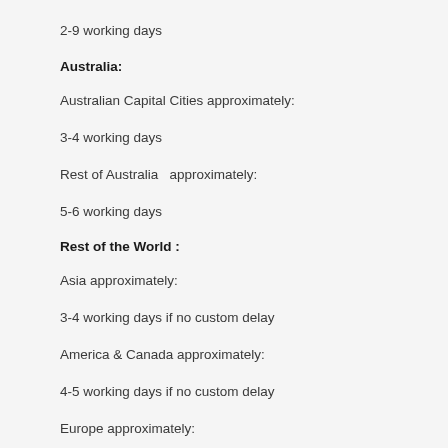2-9 working days
Australia:
Australian Capital Cities approximately:
3-4 working days
Rest of Australia  approximately:
5-6 working days
Rest of the World :
Asia approximately:
3-4 working days if no custom delay
America & Canada approximately:
4-5 working days if no custom delay
Europe approximately: